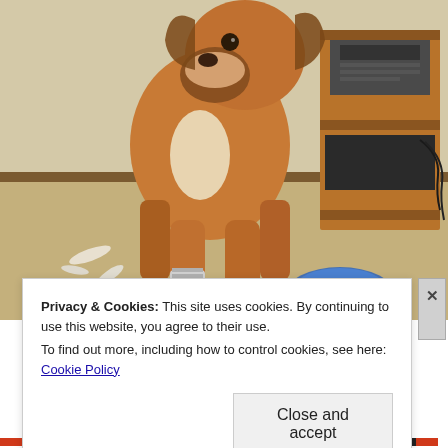[Figure (photo): A boxer dog standing on a beige carpet inside a room, looking toward the camera. Behind the dog is a wooden media stand with electronics. There are shredded pieces of paper/material on the floor. A blue toy is near the dog's feet.]
Privacy & Cookies: This site uses cookies. By continuing to use this website, you agree to their use.
To find out more, including how to control cookies, see here: Cookie Policy
Close and accept